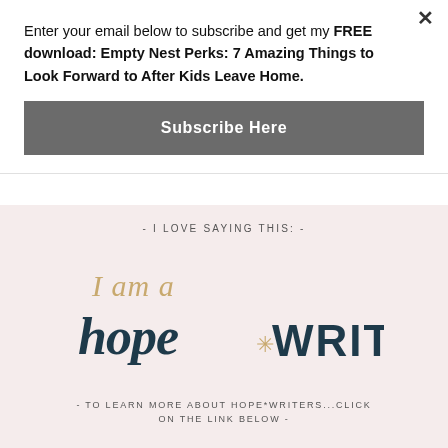Enter your email below to subscribe and get my FREE download: Empty Nest Perks: 7 Amazing Things to Look Forward to After Kids Leave Home.
Subscribe Here
- I LOVE SAYING THIS: -
[Figure (illustration): Hand-lettered 'I am a hope*WRITER' badge/logo in dark teal and gold on pale pink background]
- TO LEARN MORE ABOUT HOPE*WRITERS...CLICK ON THE LINK BELOW -